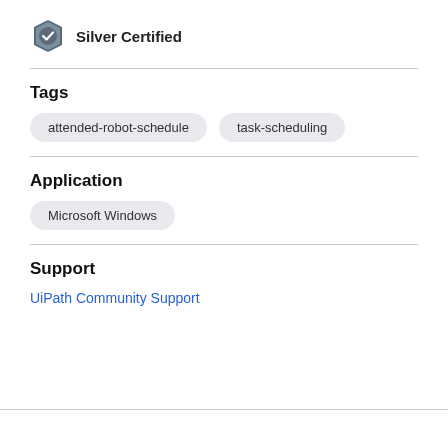[Figure (logo): Silver Certified badge icon — hexagonal shield with checkmark]
Silver Certified
Tags
attended-robot-schedule
task-scheduling
Application
Microsoft Windows
Support
UiPath Community Support